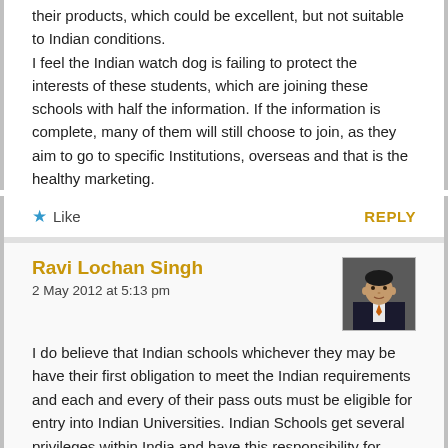their products, which could be excellent, but not suitable to Indian conditions.
I feel the Indian watch dog is failing to protect the interests of these students, which are joining these schools with half the information. If the information is complete, many of them will still choose to join, as they aim to go to specific Institutions, overseas and that is the healthy marketing.
★ Like    REPLY
Ravi Lochan Singh
2 May 2012 at 5:13 pm
[Figure (photo): Avatar photo of Ravi Lochan Singh, a man in a dark suit with a tie]
I do believe that Indian schools whichever they may be have their first obligation to meet the Indian requirements and each and every of their pass outs must be eligible for entry into Indian Universities. Indian Schools get several privileges within India and have this responsibility for sure. Having said this, IB is possibly a good curriculum and I have